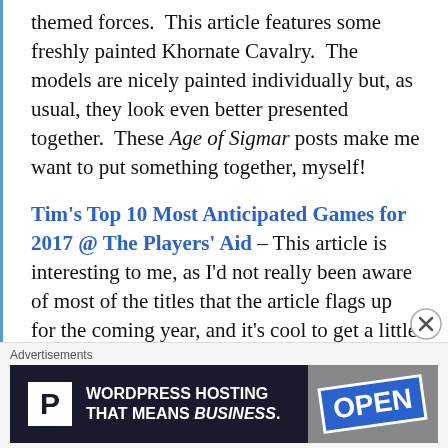themed forces.  This article features some freshly painted Khornate Cavalry.  The models are nicely painted individually but, as usual, they look even better presented together.  These Age of Sigmar posts make me want to put something together, myself!
Tim's Top 10 Most Anticipated Games for 2017 @ The Players' Aid – This article is interesting to me, as I'd not really been aware of most of the titles that the article flags up for the coming year, and it's cool to get a little peek at what to expect.  I will say that board game publishers generally suck at previewing upcoming games in advance, so goodness only knows what will actually come out.  Anachrony is one that I
Advertisements
[Figure (other): Advertisement banner for WordPress Hosting — dark background with white P logo box and text 'WORDPRESS HOSTING THAT MEANS BUSINESS.' alongside an image of an OPEN sign]